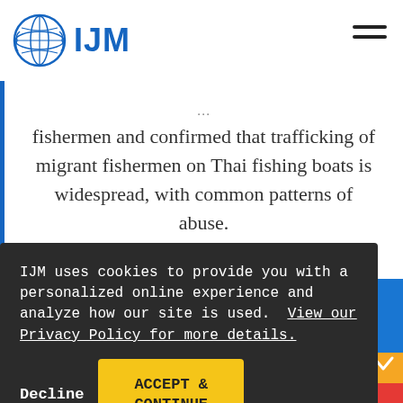IJM
fishermen and confirmed that trafficking of migrant fishermen on Thai fishing boats is widespread, with common patterns of abuse.
IJM uses cookies to provide you with a personalized online experience and analyze how our site is used. View our Privacy Policy for more details.
Decline
ACCEPT & CONTINUE